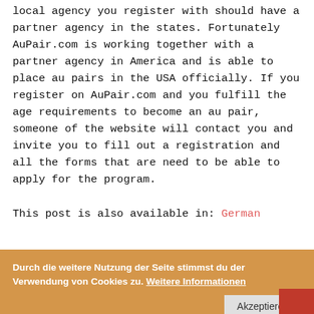local agency you register with should have a partner agency in the states. Fortunately AuPair.com is working together with a partner agency in America and is able to place au pairs in the USA officially. If you register on AuPair.com and you fulfill the age requirements to become an au pair, someone of the website will contact you and invite you to fill out a registration and all the forms that are need to be able to apply for the program.
This post is also available in: German
4 Comments
6187
Durch die weitere Nutzung der Seite stimmst du der Verwendung von Cookies zu. Weitere Informationen
Akzeptieren
PREVIOUS